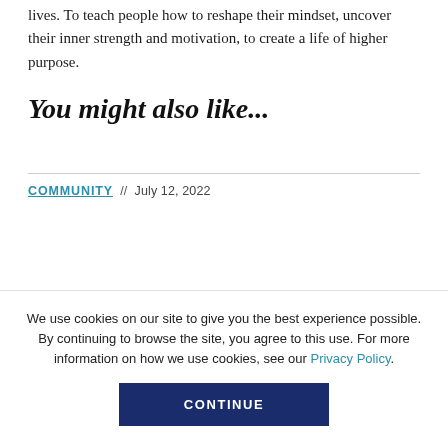lives. To teach people how to reshape their mindset, uncover their inner strength and motivation, to create a life of higher purpose.
You might also like...
COMMUNITY // July 12, 2022
We use cookies on our site to give you the best experience possible. By continuing to browse the site, you agree to this use. For more information on how we use cookies, see our Privacy Policy.
CONTINUE